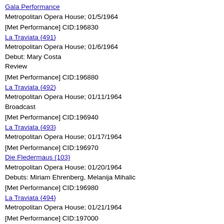Gala Performance
Metropolitan Opera House; 01/5/1964
[Met Performance] CID:196830
La Traviata {491}
Metropolitan Opera House; 01/6/1964
Debut: Mary Costa
Review
[Met Performance] CID:196880
La Traviata {492}
Metropolitan Opera House; 01/11/1964
Broadcast
[Met Performance] CID:196940
La Traviata {493}
Metropolitan Opera House; 01/17/1964
[Met Performance] CID:196970
Die Fledermaus {103}
Metropolitan Opera House; 01/20/1964
Debuts: Miriam Ehrenberg, Melanija Mihalic
[Met Performance] CID:196980
La Traviata {494}
Metropolitan Opera House; 01/21/1964
[Met Performance] CID:197000
United States Premiere
The Last Savage {1}